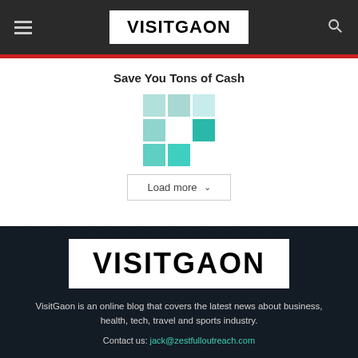VISITGAON
Save You Tons of Cash
[Figure (logo): Loading spinner grid with teal/mint colored squares in a 3x3 partial grid pattern]
Load more
[Figure (logo): VISITGAON logo in large bold black text on white background, overlaid on a dark street/corridor background photo]
VisitGaon is an online blog that covers the latest news about business, health, tech, travel and sports industry.
Contact us: jack@zestfulloutreach.com